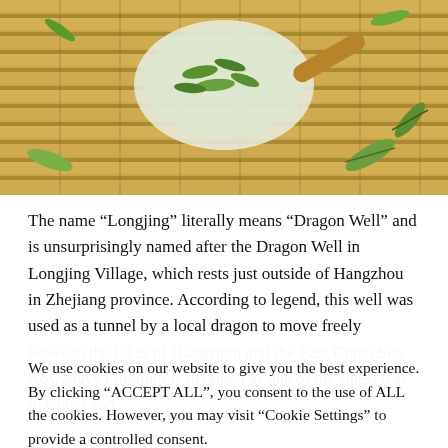[Figure (photo): Photo of green tea leaves (Longjing/Dragon Well tea) in a white ceramic scoop/bowl, arranged on a bamboo mat background]
The name “Longjing” literally means “Dragon Well” and is unsurprisingly named after the Dragon Well in Longjing Village, which rests just outside of Hangzhou in Zhejiang province. According to legend, this well was used as a tunnel by a local dragon to move freely between the lakes of Hangzhou and the East China Sea. Nowadays Longjing is heralded as one of the finest teas in China and
We use cookies on our website to give you the best experience. By clicking “ACCEPT ALL”, you consent to the use of ALL the cookies. However, you may visit “Cookie Settings” to provide a controlled consent.
Cookie Settings
REJECT ALL
ACCEPT ALL